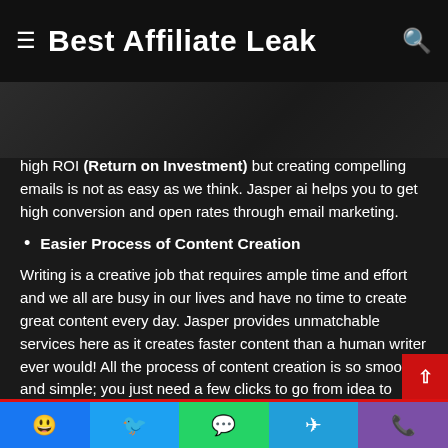Best Affiliate Leak
high ROI (Return on Investment) but creating compelling emails is not as easy as we think. Jasper ai helps you to get high conversion and open rates through email marketing.
Easier Process of Content Creation
Writing is a creative job that requires ample time and effort and we all are busy in our lives and have no time to create great content every day. Jasper provides unmatchable services here as it creates faster content than a human writer ever would! All the process of content creation is so smooth and simple; you just need a few clicks to go from idea to completion of the project within a few seconds.
Facebook Twitter WhatsApp Telegram Phone